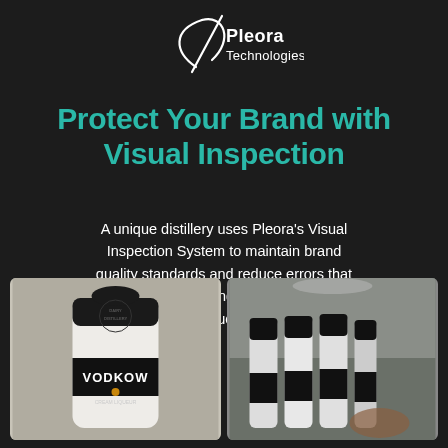[Figure (logo): Pleora Technologies logo: stylized leaf/fish shape with white lines and white text 'Pleora Technologies']
Protect Your Brand with Visual Inspection
A unique distillery uses Pleora's Visual Inspection System to maintain brand quality standards and reduce errors that increase operating costs and slow production.
[Figure (photo): Close-up photo of a white Vodkow Cream Liqueur bottle from Dairy Distillery showing label detail]
[Figure (photo): Photo of multiple white Vodkow bottles lined up on a production line being inspected]